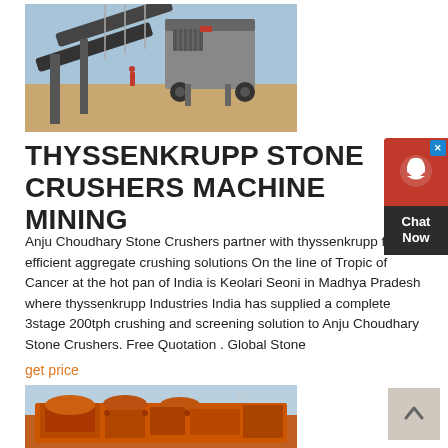[Figure (photo): Outdoor industrial stone crusher machinery on a construction/mining site with conveyors and equipment against a blue sky background]
THYSSENKRUPP STONE CRUSHERS MACHINE MINING
Anju Choudhary Stone Crushers partner with thyssenkrupp for efficient aggregate crushing solutions On the line of Tropic of Cancer at the hot pan of India is Keolari Seoni in Madhya Pradesh where thyssenkrupp Industries India has supplied a complete 3stage 200tph crushing and screening solution to Anju Choudhary Stone Crushers. Free Quotation . Global Stone
get price
[Figure (photo): Close-up of orange-colored industrial stone crusher machinery]